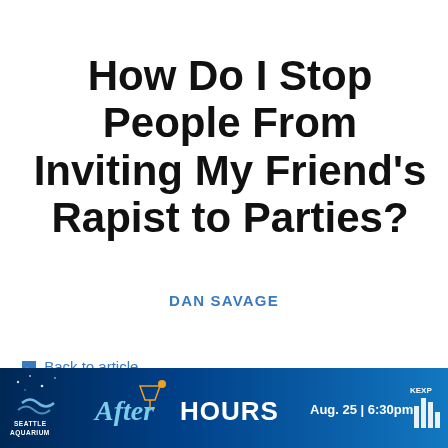How Do I Stop People From Inviting My Friend's Rapist to Parties?
DAN SAVAGE
← Back to article
Comments
"Not strictly consensual" itself tips it into the 1 rape category. It's the same thing just with
[Figure (photo): Advertisement banner for Seattle Aquarium After Hours event, Aug. 25 | 6:30pm]